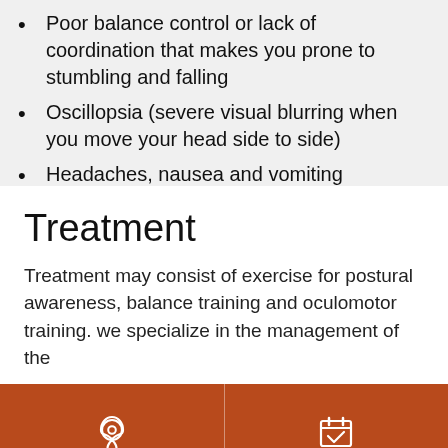Poor balance control or lack of coordination that makes you prone to stumbling and falling
Oscillopsia (severe visual blurring when you move your head side to side)
Headaches, nausea and vomiting
Treatment
Treatment may consist of exercise for postural awareness, balance training and oculomotor training. we specialize in the management of the
FIND A LOCATION
REQUEST APPOINTMENT